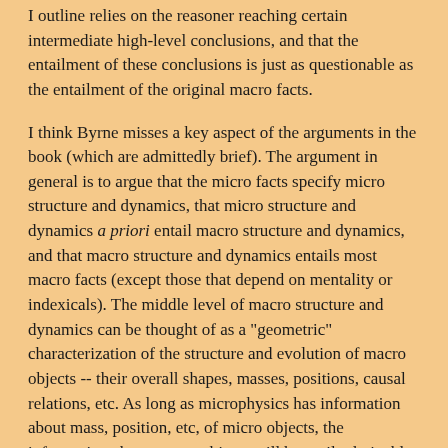I outline relies on the reasoner reaching certain intermediate high-level conclusions, and that the entailment of these conclusions is just as questionable as the entailment of the original macro facts.
I think Byrne misses a key aspect of the arguments in the book (which are admittedly brief). The argument in general is to argue that the micro facts specify micro structure and dynamics, that micro structure and dynamics a priori entail macro structure and dynamics, and that macro structure and dynamics entails most macro facts (except those that depend on mentality or indexicals). The middle level of macro structure and dynamics can be thought of as a "geometric" characterization of the structure and evolution of macro objects -- their overall shapes, masses, positions, causal relations, etc. As long as microphysics has information about mass, position, etc, of micro objects, the information about macro objects will be easily derivable from the micro information (e.g. by considerations about macroscopic mass densities in various locations, and so on). So this point is robust over microphysical theories. The second entailment is made plausible not least by the fact that this sort of macro structure and dynamics (plus facts about appearance, which I can also help myself to) is all the information we have to go on in ordinary perception.